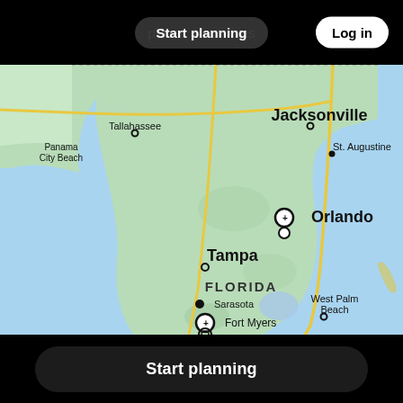Start planning   places & activities   Log in
[Figure (map): Map of Florida showing cities including Jacksonville, St. Augustine, Tallahassee, Panama City Beach, Orlando, Tampa, Sarasota, Fort Myers, West Palm Beach, Miami with map pins marking various locations]
Start planning